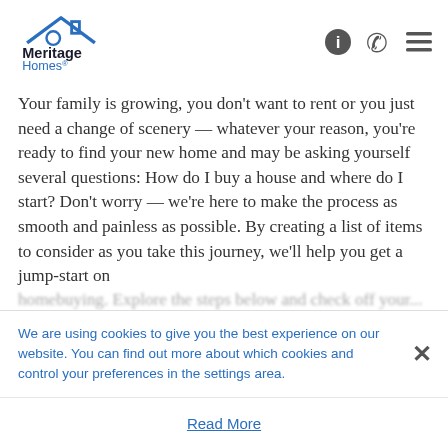[Figure (logo): Meritage Homes logo with house roof icon in blue and dark text]
Your family is growing, you don’t want to rent or you just need a change of scenery — whatever your reason, you're ready to find your new home and may be asking yourself several questions: How do I buy a house and where do I start? Don’t worry — we’re here to make the process as smooth and painless as possible. By creating a list of items to consider as you take this journey, we’ll help you get a jump-start on homebuying. Explore the steps below and check off your...
We are using cookies to give you the best experience on our website. You can find out more about which cookies and control your preferences in the settings area.
Read More